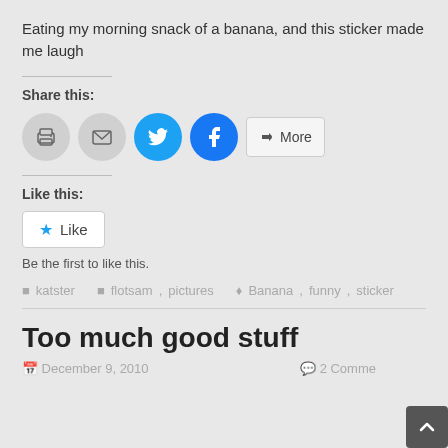Eating my morning snack of a banana, and this sticker made me laugh
Share this:
[Figure (infographic): Share buttons: print icon, email icon, Twitter (blue circle), Facebook (blue circle), More button]
Like this:
[Figure (infographic): Like button with blue star icon and text 'Like']
Be the first to like this.
katster   flotsam , pictures   Banana , funny , sticker
Too much good stuff
December 9, 2010   2 Comments